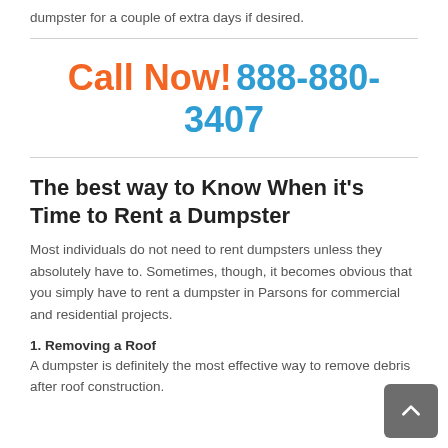dumpster for a couple of extra days if desired.
Call Now! 888-880-3407
The best way to Know When it's Time to Rent a Dumpster
Most individuals do not need to rent dumpsters unless they absolutely have to. Sometimes, though, it becomes obvious that you simply have to rent a dumpster in Parsons for commercial and residential projects.
1. Removing a Roof
A dumpster is definitely the most effective way to remove debris after roof construction.